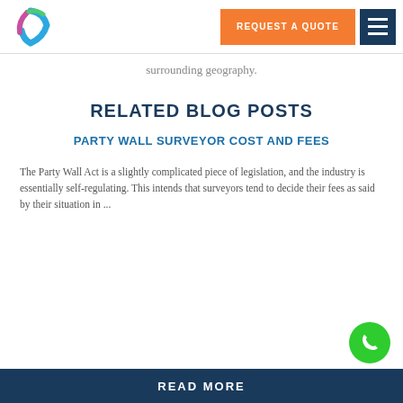REQUEST A QUOTE
surrounding geography.
RELATED BLOG POSTS
PARTY WALL SURVEYOR COST AND FEES
The Party Wall Act is a slightly complicated piece of legislation, and the industry is essentially self-regulating. This intends that surveyors tend to decide their fees as said by their situation in ...
READ MORE